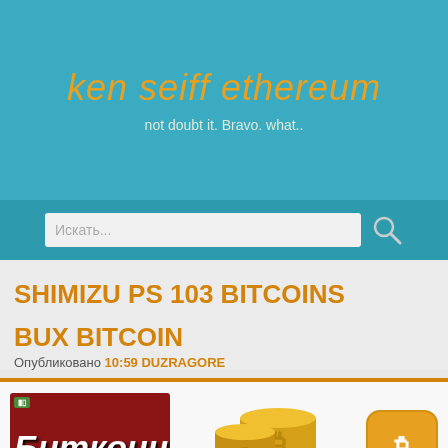ken seiff ethereum
not doubt it. Bravo. what..
SHIMIZU PS 103 BITCOINS
BUX BITCOIN
Опубликовано 10:59 DUZRAGORE
[Figure (screenshot): Website screenshot showing Bitcoin-related content with Russian text 'Биткоин' on a red background, gold Bitcoin coins, and a Bitcoin app icon]